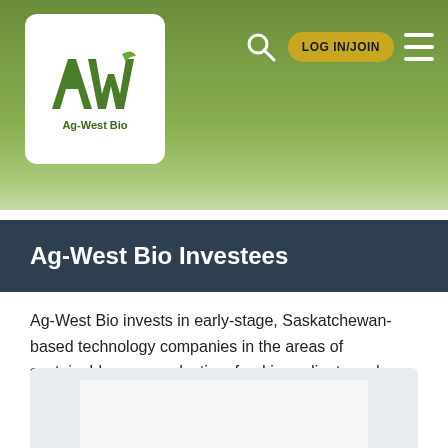[Figure (logo): Ag-West Bio logo: stylized AWB letters in green with 'Ag-West Bio' text below, on white rounded rectangle background]
LOG IN/JOIN
Ag-West Bio Investees
Ag-West Bio invests in early-stage, Saskatchewan-based technology companies in the areas of sustainable crop production, food ingredients and processing, health, environment, biofuels and bioproducts.